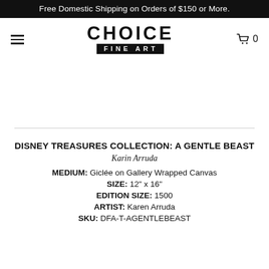Free Domestic Shipping on Orders of $150 or More.
[Figure (logo): Choice Fine Art logo with CHOICE in bold large text and FINE ART in white text on black background bar]
DISNEY TREASURES COLLECTION: A GENTLE BEAST
Karin Arruda
MEDIUM: Giclée on Gallery Wrapped Canvas
SIZE: 12" x 16"
EDITION SIZE: 1500
ARTIST: Karen Arruda
SKU: DFA-T-AGENTLEBEAST